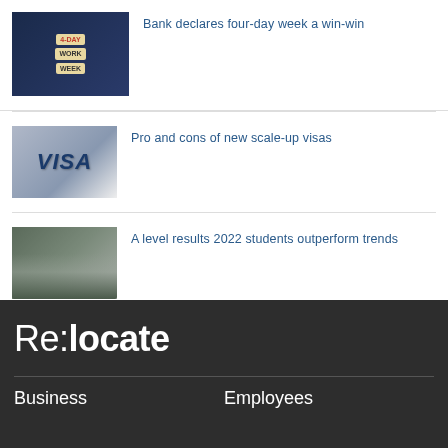[Figure (photo): Wooden tiles spelling 4-DAY WORK WEEK on a dark blue background]
Bank declares four-day week a win-win
[Figure (photo): Close-up of a VISA document/passport with blue background]
Pro and cons of new scale-up visas
[Figure (photo): Group of students standing in front of a stone building]
A level results 2022 students outperform trends
[Figure (logo): Re:locate logo in white on dark background]
Business
Employees